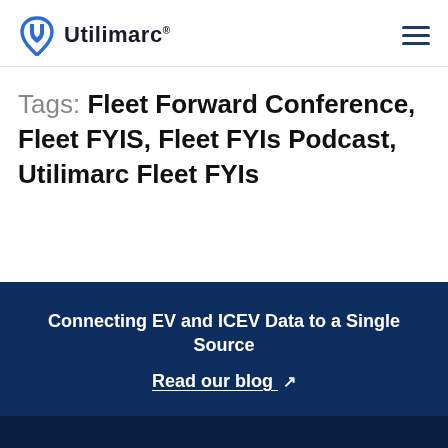Utilimarc®
Tags: Fleet Forward Conference, Fleet FYIS, Fleet FYIs Podcast, Utilimarc Fleet FYIs
Connecting EV and ICEV Data to a Single Source
Read our blog ↗